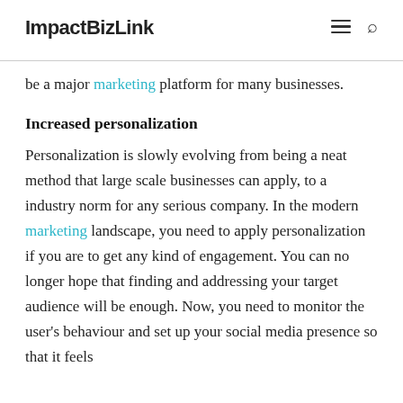ImpactBizLink
be a major marketing platform for many businesses.
Increased personalization
Personalization is slowly evolving from being a neat method that large scale businesses can apply, to a industry norm for any serious company. In the modern marketing landscape, you need to apply personalization if you are to get any kind of engagement. You can no longer hope that finding and addressing your target audience will be enough. Now, you need to monitor the user's behaviour and set up your social media presence so that it feels...